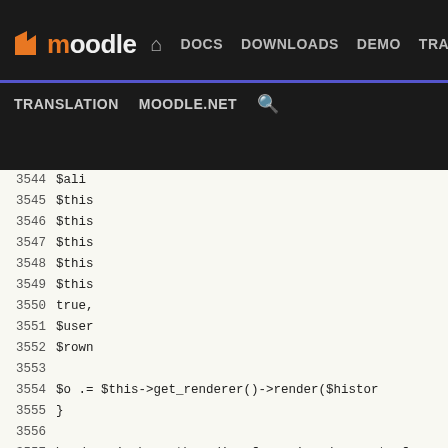Moodle DOCS DOWNLOADS DEMO TRACKER DEV TRANSLATION MOODLE.NET [search]
[Figure (screenshot): Moodle developer documentation website navigation bar with dark background, showing Moodle logo (orange M), navigation links: DOCS, DOWNLOADS, DEMO, TRACKER, DEV (highlighted in blue), and second row: TRANSLATION, MOODLE.NET, search icon]
PHP source code viewer showing lines 3544-3570 of Moodle assignment module code, including $this references, $o .= $this->get_renderer()->render($histor, }, \mod_assign\event\grading_form_viewed::create_f, $o .= $this->view_footer();, return $o;, }, /**, * Show a confirmation page to make sure they want, *, * @return string, */, protected function view_reveal_identities_confirm(, require_capability('mod/assign:revealidentities